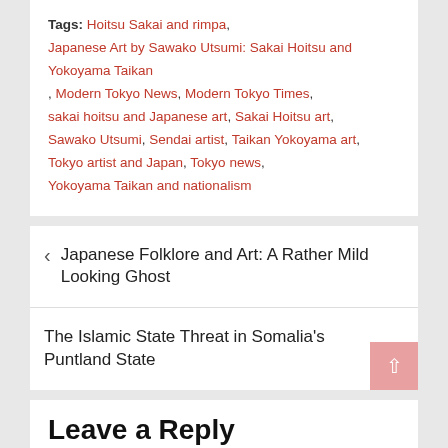Tags: Hoitsu Sakai and rimpa, Japanese Art by Sawako Utsumi: Sakai Hoitsu and Yokoyama Taikan, Modern Tokyo News, Modern Tokyo Times, sakai hoitsu and Japanese art, Sakai Hoitsu art, Sawako Utsumi, Sendai artist, Taikan Yokoyama art, Tokyo artist and Japan, Tokyo news, Yokoyama Taikan and nationalism
< Japanese Folklore and Art: A Rather Mild Looking Ghost
The Islamic State Threat in Somalia's Puntland State >
Leave a Reply
Your email address will not be published. Required fields